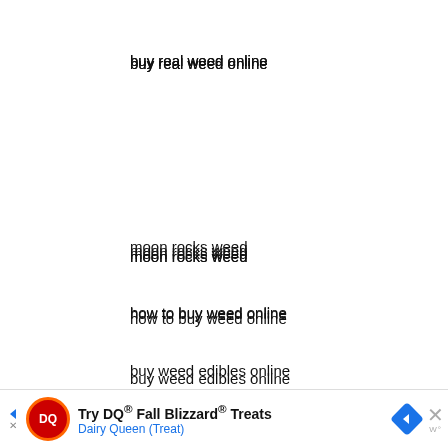buy real weed online
moon rocks weed
how to buy weed online
buy weed edibles online
cannabis online shop
[Figure (other): Dairy Queen advertisement banner: Try DQ® Fall Blizzard® Treats - Dairy Queen (Treat) with DQ logo, navigation arrow, and blue diamond icon]